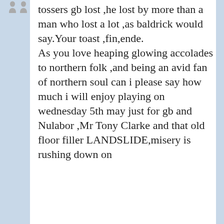tossers gb lost ,he lost by more than a man who lost a lot ,as baldrick would say.Your toast ,fin,ende. As you love heaping glowing accolades to northern folk ,and being an avid fan of northern soul can i please say how much i will enjoy playing on wednesday 5th may just for gb and Nulabor ,Mr Tony Clarke and that old floor filler LANDSLIDE,misery is rushing down on